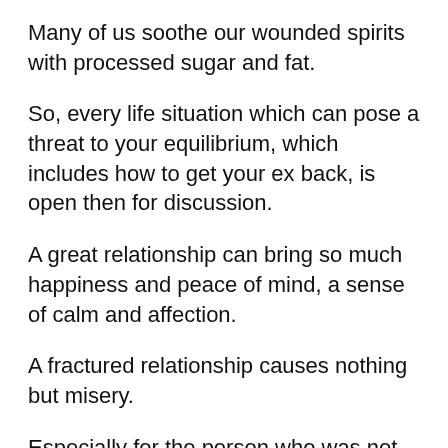Many of us soothe our wounded spirits with processed sugar and fat.
So, every life situation which can pose a threat to your equilibrium, which includes how to get your ex back, is open then for discussion.
A great relationship can bring so much happiness and peace of mind, a sense of calm and affection.
A fractured relationship causes nothing but misery.
Especially for the person who was not looking to end the relationship.
My goal here is to help you, if you are in that